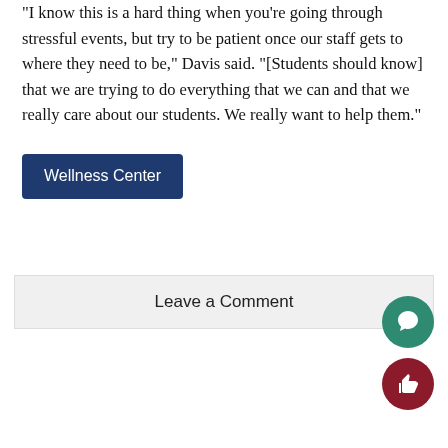“I know this is a hard thing when you’re going through stressful events, but try to be patient once our staff gets to where they need to be,” Davis said. “[Students should know] that we are trying to do everything that we can and that we really care about our students. We really want to help them.”
Wellness Center
Leave a Comment
[Figure (other): Teal circular floating action button with a speech bubble / comment icon]
[Figure (other): Dark red circular floating action button with a thumbs-up like icon]